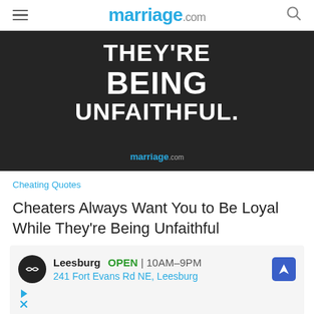marriage.com
[Figure (illustration): Dark background image with white bold text reading THEY'RE BEING UNFAITHFUL. and marriage.com logo at bottom.]
Cheating Quotes
Cheaters Always Want You to Be Loyal While They're Being Unfaithful
[Figure (infographic): Advertisement for a local business: Leesburg, OPEN 10AM-9PM, 241 Fort Evans Rd NE, Leesburg, with navigation icon and play/close buttons.]